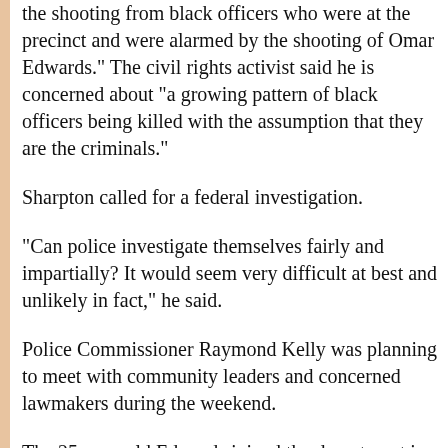the shooting from black officers who were at the precinct and were alarmed by the shooting of Omar Edwards." The civil rights activist said he is concerned about "a growing pattern of black officers being killed with the assumption that they are the criminals."
Sharpton called for a federal investigation.
"Can police investigate themselves fairly and impartially? It would seem very difficult at best and unlikely in fact," he said.
Police Commissioner Raymond Kelly was planning to meet with community leaders and concerned lawmakers during the weekend.
The 25-year-old Edwards joined the department in July 2007, and his family said he always wanted to